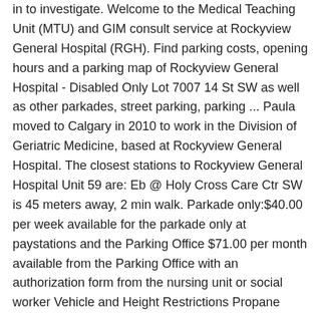in to investigate. Welcome to the Medical Teaching Unit (MTU) and GIM consult service at Rockyview General Hospital (RGH). Find parking costs, opening hours and a parking map of Rockyview General Hospital - Disabled Only Lot 7007 14 St SW as well as other parkades, street parking, parking ... Paula moved to Calgary in 2010 to work in the Division of Geriatric Medicine, based at Rockyview General Hospital. The closest stations to Rockyview General Hospital Unit 59 are: Eb @ Holy Cross Care Ctr SW is 45 meters away, 2 min walk. Parkade only:$40.00 per week available for the parkade only at paystations and the Parking Office $71.00 per month available from the Parking Office with an authorization form from the nursing unit or social worker Vehicle and Height Restrictions Propane powered vehiclesare not permitted in the parkades. Emphasis on frequent and early mobilization despite space limitations. Google Maps. (Note: Not all the parkade elevators will take you to the 6th floor and you may have to change elevators.) 0. CALGARY – Police were called to the Rocky View General Hospital on Wednesday afternoon for reports of a